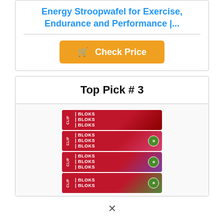Energy Stroopwafel for Exercise, Endurance and Performance |...
[Figure (other): Orange 'Check Price' button with shopping cart icon]
Top Pick # 3
[Figure (photo): Stack of CLIF BLOKS energy chews packages in dark red/black, pink/red, purple, and green flavors]